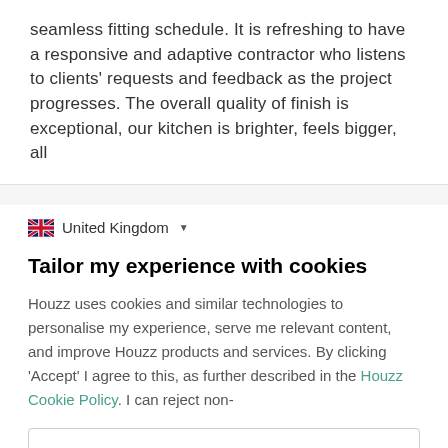seamless fitting schedule. It is refreshing to have a responsive and adaptive contractor who listens to clients' requests and feedback as the project progresses. The overall quality of finish is exceptional, our kitchen is brighter, feels bigger, all
United Kingdom
Tailor my experience with cookies
Houzz uses cookies and similar technologies to personalise my experience, serve me relevant content, and improve Houzz products and services. By clicking 'Accept' I agree to this, as further described in the Houzz Cookie Policy. I can reject non-
Manage Preferences
Accept